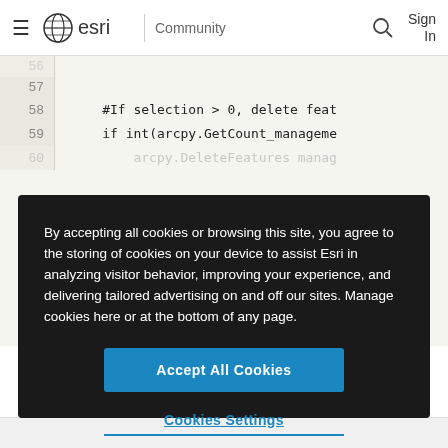esri Community  Sign In
[Figure (screenshot): Code editor showing Python code with line numbers 56-60. Lines visible: 57 (blank), 58: #If selection > 0, delete feat, 59: if int(arcpy.GetCount_manageme, 60 (partial): arcpy.DeleteFeatures manag]
By accepting all cookies or browsing this site, you agree to the storing of cookies on your device to assist Esri in analyzing visitor behavior, improving your experience, and delivering tailored advertising on and off our sites. Manage cookies here or at the bottom of any page.
Accept All Cookies
Cookies Settings